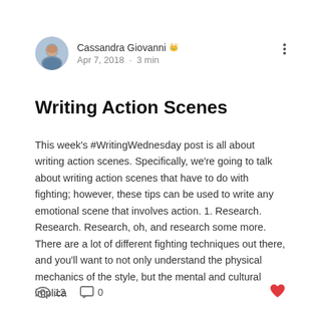Cassandra Giovanni 👑 Admin · Apr 7, 2018 · 3 min
Writing Action Scenes
This week's #WritingWednesday post is all about writing action scenes. Specifically, we're going to talk about writing action scenes that have to do with fighting; however, these tips can be used to write any emotional scene that involves action. 1. Research. Research. Research, oh, and research some more. There are a lot of different fighting techniques out there, and you'll want to not only understand the physical mechanics of the style, but the mental and cultural implica
👁 12   💬 0   ♥